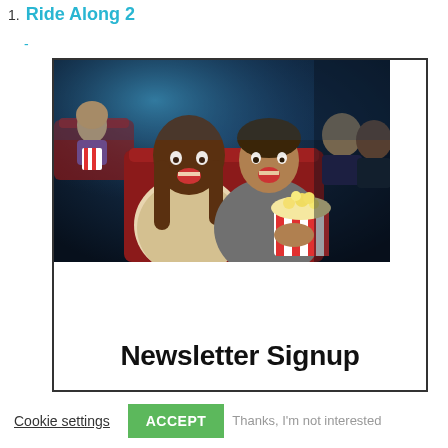1.  Ride Along 2
-
[Figure (photo): Photo of excited couple watching a movie in a cinema, both laughing with open mouths. The woman has long hair and wears a light sweater. The man holds a large red-and-white striped popcorn bucket. Other moviegoers are visible in background seats under blue light.]
Newsletter Signup
Cookie settings   ACCEPT   Thanks, I'm not interested